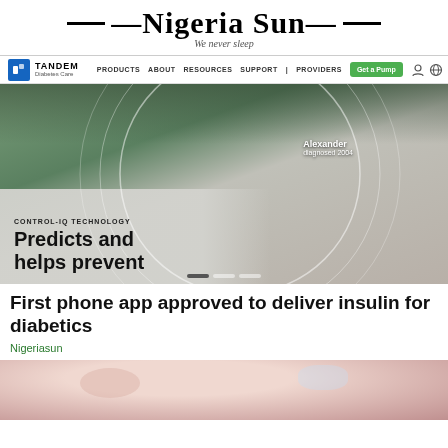Nigeria Sun — We never sleep
[Figure (screenshot): Tandem Diabetes Care website navigation bar with logo, menu items (PRODUCTS, ABOUT, RESOURCES, SUPPORT, PROVIDERS), Get a Pump button]
[Figure (screenshot): Tandem Diabetes Care website hero image showing a smiling man (Alexander, diagnosed 2004) in a forest setting with CONTROL-IQ TECHNOLOGY text and 'Predicts and helps prevent' headline]
First phone app approved to deliver insulin for diabetics
Nigeriasun
[Figure (photo): Close-up photo of a person's face, partially cropped at the bottom of the page]